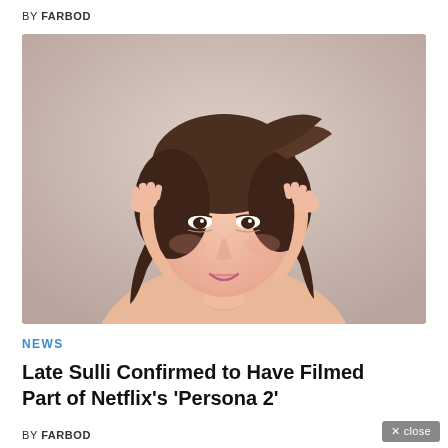BY FARBOD
[Figure (photo): Young East Asian woman with brown hair swept up, hands raised to both sides of her face, smiling warmly against a light gray background.]
NEWS
Late Sulli Confirmed to Have Filmed Part of Netflix's 'Persona 2'
BY FARBOD